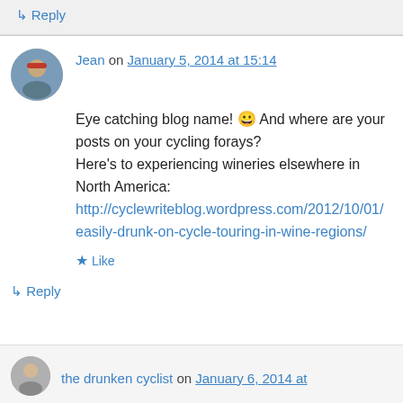↳ Reply
Jean on January 5, 2014 at 15:14
Eye catching blog name! 😀 And where are your posts on your cycling forays?
Here's to experiencing wineries elsewhere in North America:
http://cyclewriteblog.wordpress.com/2012/10/01/easily-drunk-on-cycle-touring-in-wine-regions/
★ Like
↳ Reply
the drunken cyclist on January 6, 2014 at